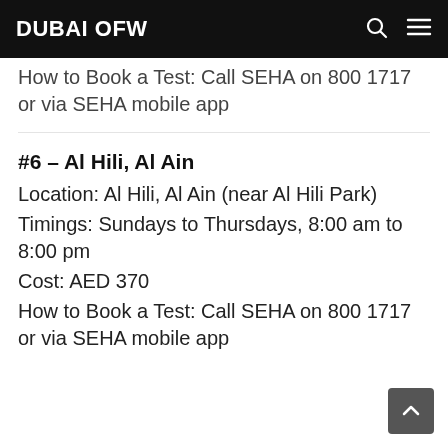DUBAI OFW
How to Book a Test: Call SEHA on 800 1717 or via SEHA mobile app
#6 – Al Hili, Al Ain
Location: Al Hili, Al Ain (near Al Hili Park)
Timings: Sundays to Thursdays, 8:00 am to 8:00 pm
Cost: AED 370
How to Book a Test: Call SEHA on 800 1717 or via SEHA mobile app